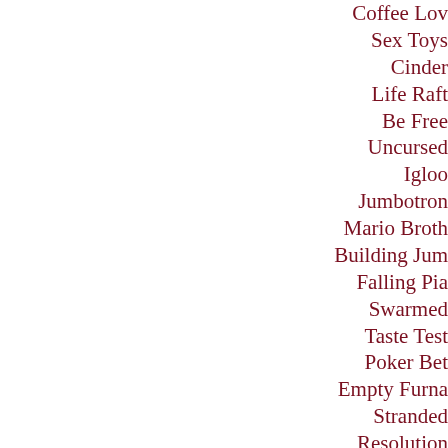Coffee Lov…
Sex Toys
Cinder
Life Raft…
Be Free
Uncursed…
Igloo
Jumbotron…
Mario Broth…
Building Jum…
Falling Pia…
Swarmed…
Taste Test…
Poker Bet…
Empty Furna…
Stranded
Resolution…
Rudy
Christmas Pu…
Alien Abduc…
The Coun…
Superman…
Blood
Dying Wor…
Fortune Coo…